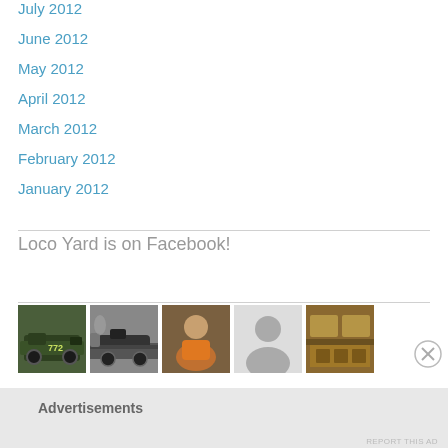July 2012
June 2012
May 2012
April 2012
March 2012
February 2012
January 2012
Loco Yard is on Facebook!
[Figure (photo): Row of five thumbnail photos related to Loco Yard Facebook page: green locomotive, steam train, person, silhouette/avatar, vintage train interior]
Advertisements